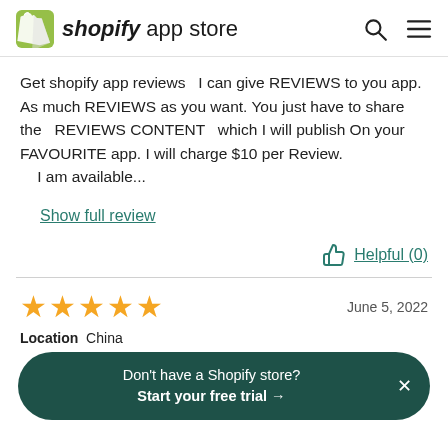shopify app store
Get shopify app reviews   I can give REVIEWS to you app. As much REVIEWS as you want. You just have to share the   REVIEWS CONTENT   which I will publish On your FAVOURITE app. I will charge $10 per Review.    I am available...
Show full review
Helpful (0)
★★★★★  June 5, 2022
Don't have a Shopify store? Start your free trial →
Location  China